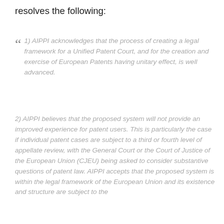resolves the following:
1) AIPPI acknowledges that the process of creating a legal framework for a Unified Patent Court, and for the creation and exercise of European Patents having unitary effect, is well advanced.
2) AIPPI believes that the proposed system will not provide an improved experience for patent users. This is particularly the case if individual patent cases are subject to a third or fourth level of appellate review, with the General Court or the Court of Justice of the European Union (CJEU) being asked to consider substantive questions of patent law. AIPPI accepts that the proposed system is within the legal framework of the European Union and its existence and structure are subject to the